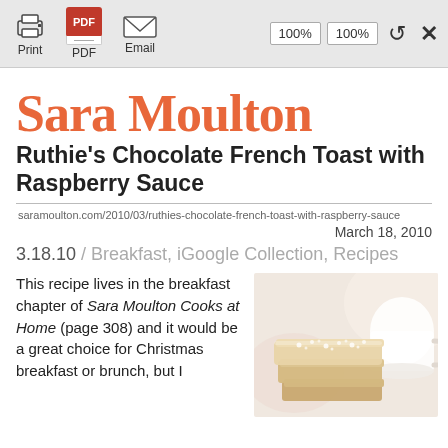Print  PDF  Email  100%  100%  ×
Sara Moulton
Ruthie's Chocolate French Toast with Raspberry Sauce
saramoulton.com/2010/03/ruthies-chocolate-french-toast-with-raspberry-sauce
March 18, 2010
3.18.10 / Breakfast, iGoogle Collection, Recipes
This recipe lives in the breakfast chapter of Sara Moulton Cooks at Home (page 308) and it would be a great choice for Christmas breakfast or brunch, but I
[Figure (photo): Food photo showing stacked slices of chocolate French toast dusted with powdered sugar, with a white cup/mug in the background, warm beige tones]